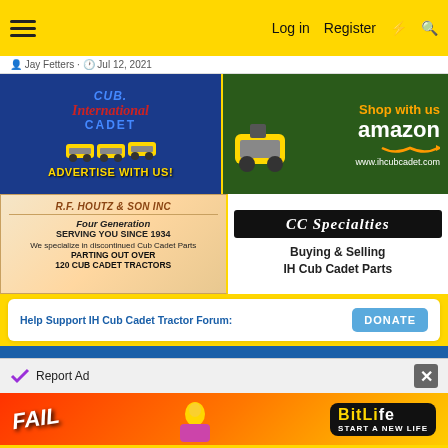☰   Log in   Register   ⚡   🔍
Jay Fetters · Jul 12, 2021
[Figure (advertisement): Cub International Cadet advertisement - ADVERTISE WITH US!]
[Figure (advertisement): Amazon Shop with us - www.ihcubcadet.com]
[Figure (advertisement): R.F. Houtz & Son Inc - Four Generation SERVING YOU SINCE 1934 - We specialize in discontinued Cub Cadet Parts PARTING OUT OVER 120 CUB CADET TRACTORS]
[Figure (advertisement): CC Specialties - Buying & Selling IH Cub Cadet Parts]
Help Support IH Cub Cadet Tractor Forum:
DONATE
[Figure (advertisement): BitLife - FAIL - START A NEW LIFE]
Report Ad